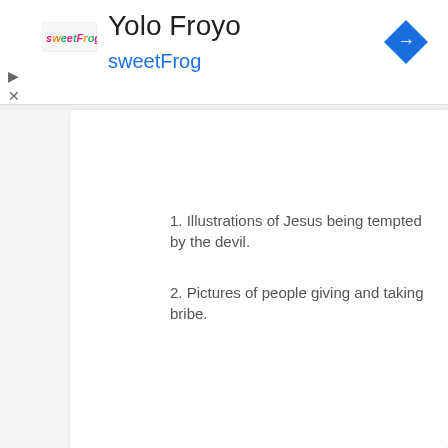[Figure (logo): sweetFrog logo - colorful text logo]
Yolo Froyo
sweetFrog
[Figure (other): Blue diamond navigation/turn arrow icon in top right]
[Figure (other): Chevron up arrow tab button on left side]
1. Illustrations of Jesus being tempted by the devil.
2. Pictures of people giving and taking bribe.